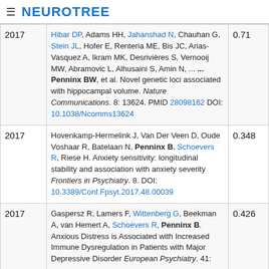≡ NEUROTREE
| Year | Reference | Score |
| --- | --- | --- |
| 2017 | Hibar DP, Adams HH, Jahanshad N, Chauhan G, Stein JL, Hofer E, Renteria ME, Bis JC, Arias-Vasquez A, Ikram MK, Desrivières S, Vernooij MW, Abramovic L, Alhusaini S, Amin N, ... ... Penninx BW, et al. Novel genetic loci associated with hippocampal volume. Nature Communications. 8: 13624. PMID 28098162 DOI: 10.1038/Ncomms13624 | 0.71 |
| 2017 | Hovenkamp-Hermelink J, Van Der Veen D, Oude Voshaar R, Batelaan N, Penninx B, Schoevers R, Riese H. Anxiety sensitivity: longitudinal stability and association with anxiety severity Frontiers in Psychiatry. 8. DOI: 10.3389/Conf.Fpsyt.2017.48.00039 | 0.348 |
| 2017 | Gaspersz R, Lamers F, Wittenberg G, Beekman A, van Hemert A, Schoevers R, Penninx B. Anxious Distress is Associated with Increased Immune Dysregulation in Patients with Major Depressive Disorder European Psychiatry. 41: | 0.426 |